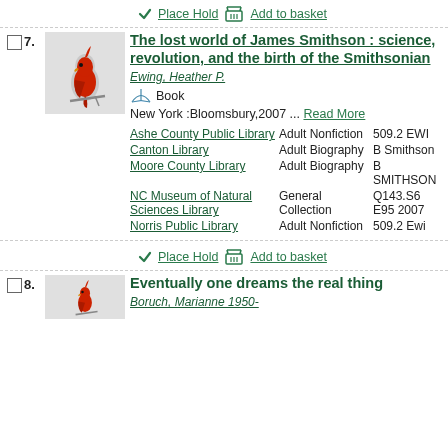✓ Place Hold 🧺 Add to basket
7.
[Figure (illustration): Thumbnail image of book cover showing a red cardinal bird on a grey background]
The lost world of James Smithson : science, revolution, and the birth of the Smithsonian
Ewing, Heather P.
Book
New York :Bloomsbury,2007 ... Read More
| Library | Collection | Call Number |
| --- | --- | --- |
| Ashe County Public Library | Adult Nonfiction | 509.2 EWI |
| Canton Library | Adult Biography | B Smithson |
| Moore County Library | Adult Biography | B SMITHSON |
| NC Museum of Natural Sciences Library | General Collection | Q143.S6 E95 2007 |
| Norris Public Library | Adult Nonfiction | 509.2 Ewi |
✓ Place Hold 🧺 Add to basket
8.
[Figure (illustration): Thumbnail image of book cover showing a red cardinal bird]
Eventually one dreams the real thing
Boruch, Marianne 1950-